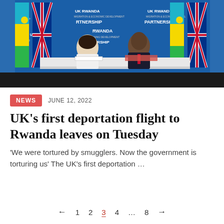[Figure (photo): Two officials seated at a table signing documents in front of UK and Rwanda flags and a backdrop reading 'UK Rwanda Migration and Economic Development Partnership'. A woman in white jacket on the left and a man in dark suit on the right.]
NEWS   JUNE 12, 2022
UK’s first deportation flight to Rwanda leaves on Tuesday
‘We were tortured by smugglers. Now the government is torturing us’ The UK’s first deportation …
←  1  2  3  4  …  8  →